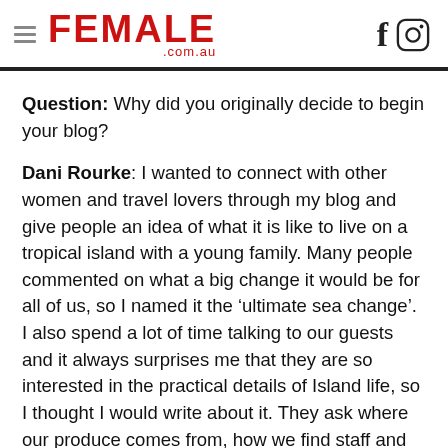FEMALE .com.au
Question: Why did you originally decide to begin your blog?
Dani Rourke: I wanted to connect with other women and travel lovers through my blog and give people an idea of what it is like to live on a tropical island with a young family. Many people commented on what a big change it would be for all of us, so I named it the ‘ultimate sea change’. I also spend a lot of time talking to our guests and it always surprises me that they are so interested in the practical details of Island life, so I thought I would write about it. They ask where our produce comes from, how we find staff and what happens to the garbage. Most of our guests come from big cities and I suppose Lord Howe seems so different and so remote. Also, I like writing and in a small community there’s always plenty of